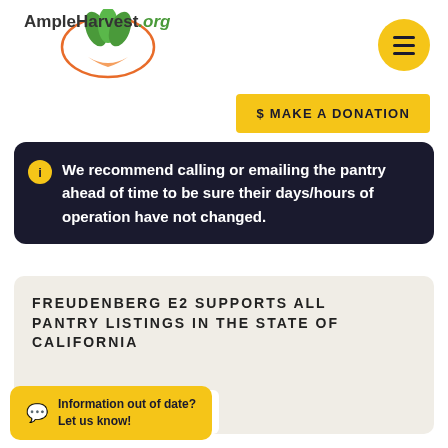[Figure (logo): AmpleHarvest.org logo with palm leaf and hand icon, plus hamburger menu button (yellow circle with three lines)]
[Figure (other): Yellow donation button reading '$ MAKE A DONATION']
We recommend calling or emailing the pantry ahead of time to be sure their days/hours of operation have not changed.
FREUDENBERG E2 SUPPORTS ALL PANTRY LISTINGS IN THE STATE OF CALIFORNIA
[Figure (logo): Freudenberg company logo in blue]
Information out of date? Let us know!